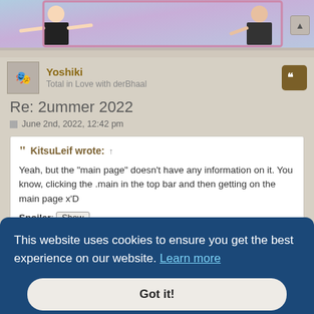[Figure (illustration): Top banner showing manga-style anime characters with outstretched arms on a colorful purple/teal background]
Yoshiki
Total in Love with derBhaal
Re: 2ummer 2022
June 2nd, 2022, 12:42 pm
KitsuLeif wrote: ↑

Yeah, but the "main page" doesn't have any information on it. You know, clicking the .main in the top bar and then getting on the main page x'D

Spoiler: Show
This website uses cookies to ensure you get the best experience on our website. Learn more
Got it!